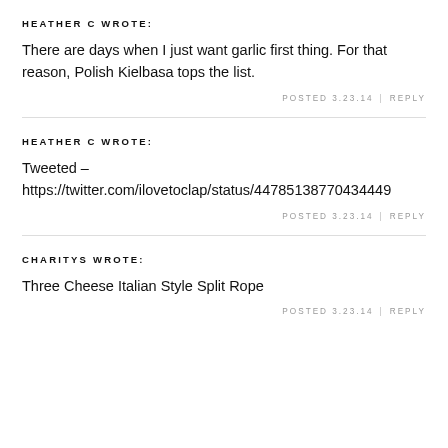HEATHER C WROTE:
There are days when I just want garlic first thing. For that reason, Polish Kielbasa tops the list.
POSTED 3.23.14 | REPLY
HEATHER C WROTE:
Tweeted – https://twitter.com/ilovetoclap/status/44785138770434449
POSTED 3.23.14 | REPLY
CHARITYS WROTE:
Three Cheese Italian Style Split Rope
POSTED 3.23.14 | REPLY